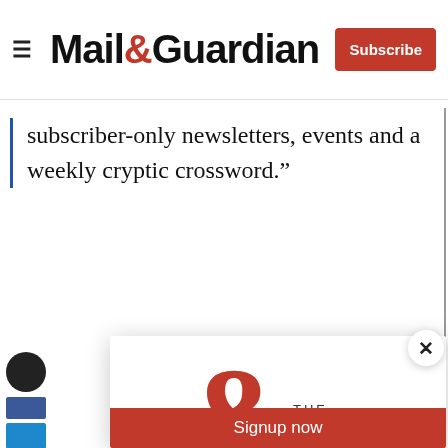Mail & Guardian | Subscribe
subscriber-only newsletters, events and a weekly cryptic crossword.”
[Figure (logo): The Ampersand newsletter logo — large red ampersand with 'THE AMPERSAND' text]
Stay informed. Every weekday.
E-mail Address
Signup now